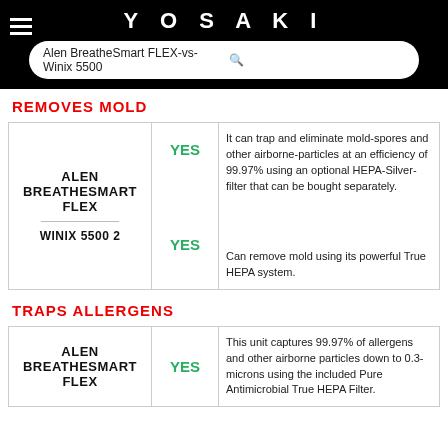YOSAKI | Alen BreatheSmart FLEX-vs-Winix 5500
REMOVES MOLD
| Product | Result | Description |
| --- | --- | --- |
| ALEN BREATHESMART FLEX | YES | It can trap and eliminate mold-spores and other airborne-particles at an efficiency of 99.97% using an optional HEPA-Silver-filter that can be bought separately. |
| WINIX 5500 2 | YES | Can remove mold using its powerful True HEPA system. |
TRAPS ALLERGENS
| Product | Result | Description |
| --- | --- | --- |
| ALEN BREATHESMART FLEX | YES | This unit captures 99.97% of allergens and other airborne particles down to 0.3-microns using the included Pure Antimicrobial True HEPA Filter. |